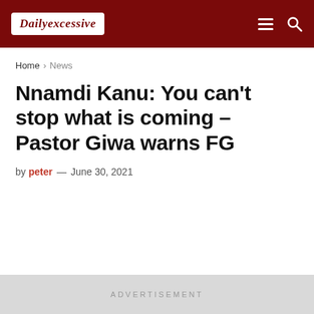Dailyexcessive
Home > News
Nnamdi Kanu: You can’t stop what is coming – Pastor Giwa warns FG
by peter — June 30, 2021
ADVERTISEMENT